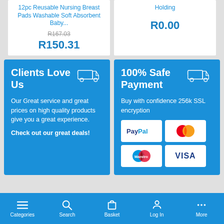12pc Reusable Nursing Breast Pads Washable Soft Absorbent Baby...
R167.03 (strikethrough)
R150.31
Holding
R0.00
Clients Love Us
Our Great service and great prices on high quality products give you a great experience.
Check out our great deals!
100% Safe Payment
Buy with confidence 256k SSL encryption
[Figure (other): Payment method logos: PayPal, MasterCard, Maestro, VISA]
Categories | Search | Basket | Log In | More